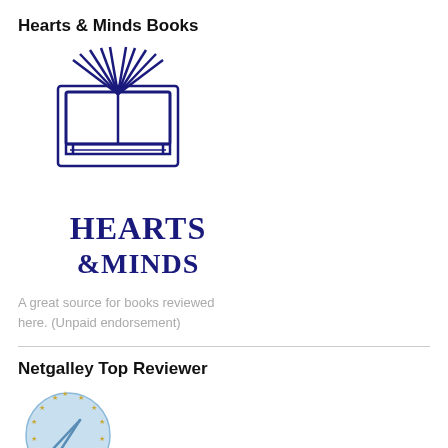Hearts & Minds Books
[Figure (logo): Hearts & Minds Books logo — an open book with pages fanned out at top, text HEARTS & MINDS in dark navy blue serif/display font below, all within a rectangular border outline]
A great source for books reviewed here. (Unpaid endorsement)
Netgalley Top Reviewer
[Figure (logo): Netgalley Top Reviewer badge — circular badge with light blue background, gold/yellow stars around the perimeter, a pencil/pen icon in the center, text TOP REVIEWER at the bottom]